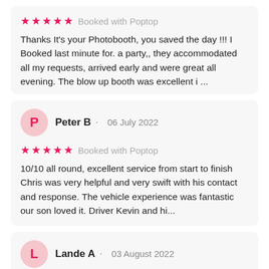★★★★★ Booked with Poptop
Thanks It's your Photobooth, you saved the day !!! I Booked last minute for. a party,, they accommodated all my requests, arrived early and were great all evening. The blow up booth was excellent i ...
Peter B · 06 July 2022
★★★★★ Booked with Poptop
10/10 all round, excellent service from start to finish Chris was very helpful and very swift with his contact and response. The vehicle experience was fantastic our son loved it. Driver Kevin and hi...
Lande A · 03 August 2022
★★★★ Booked with Poptop